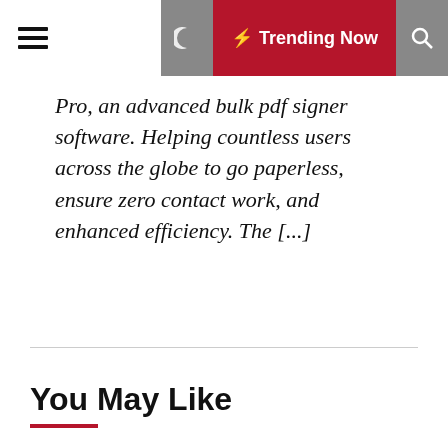☰ Trending Now 🔍
Pro, an advanced bulk pdf signer software. Helping countless users across the globe to go paperless, ensure zero contact work, and enhanced efficiency. The [...]
You May Like